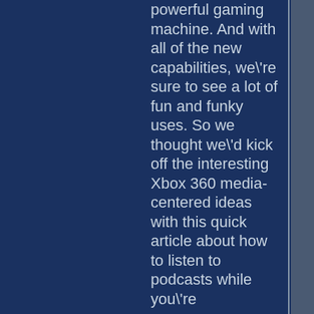powerful gaming machine. And with all of the new capabilities, we're sure to see a lot of fun and funky uses. So we thought we'd kick off the interesting Xbox 360 media-centered ideas with this quick article about how to listen to podcasts while you're